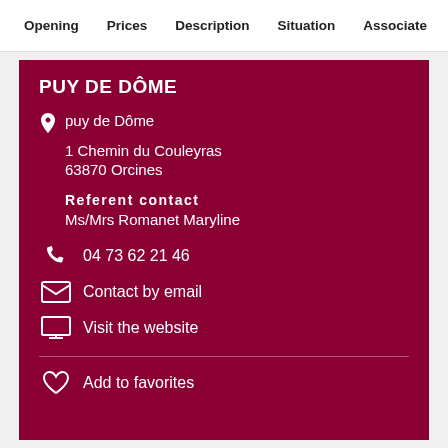Opening  Prices  Description  Situation  Associate
PUY DE DÔME
puy de Dôme
1 Chemin du Couleyras
63870 Orcines
Referent contact
Ms/Mrs Romanet Maryline
04 73 62 21 46
Contact by email
Visit the website
Add to favorites